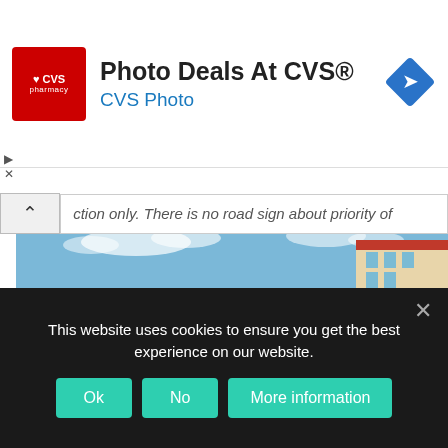[Figure (infographic): CVS Pharmacy advertisement banner with red logo, 'Photo Deals At CVS®' title, 'CVS Photo' subtitle in blue, and a blue diamond road sign icon on the right]
ction only. There is no road sign about priority of way.
If the roundabout is regulated one, you have to follow the road signs meaning.
An example of a regulated roundabout, signaled by a priority road sign (about priority of way):
[Figure (photo): Outdoor photo showing blue sky with clouds and a building with orange/red roof in the bottom right corner]
This website uses cookies to ensure you get the best experience on our website.